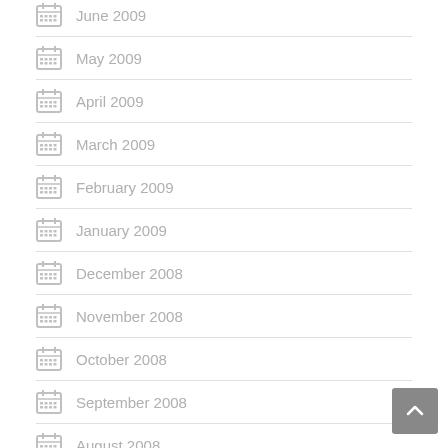June 2009
May 2009
April 2009
March 2009
February 2009
January 2009
December 2008
November 2008
October 2008
September 2008
August 2008
July 2008